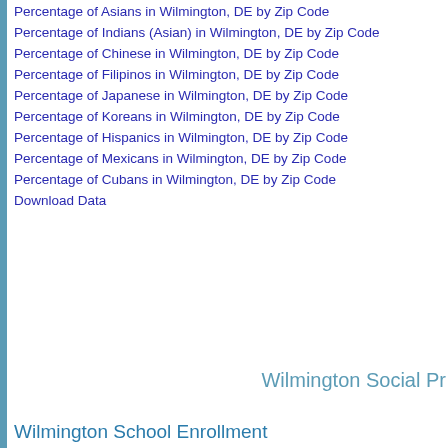Percentage of Asians in Wilmington, DE by Zip Code
Percentage of Indians (Asian) in Wilmington, DE by Zip Code
Percentage of Chinese in Wilmington, DE by Zip Code
Percentage of Filipinos in Wilmington, DE by Zip Code
Percentage of Japanese in Wilmington, DE by Zip Code
Percentage of Koreans in Wilmington, DE by Zip Code
Percentage of Hispanics in Wilmington, DE by Zip Code
Percentage of Mexicans in Wilmington, DE by Zip Code
Percentage of Cubans in Wilmington, DE by Zip Code
Download Data
Wilmington Social Pr
Wilmington School Enrollment
[Figure (bar-chart): Bar chart showing Wilmington school enrollment, y-axis from 6000 to 22000, with a teal/blue bar visible on the right side of the chart]